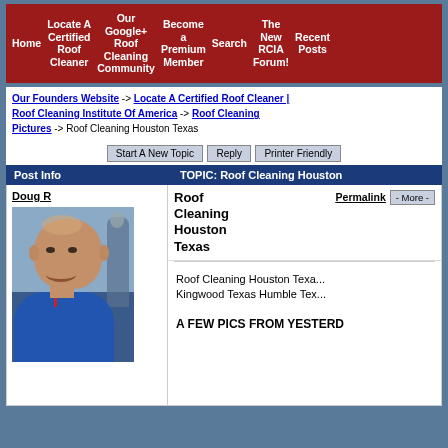Navigation bar with: Home | Locate A Certified Roof Cleaner | Our Google+ Roof Cleaning Community | Become a Premium Member | Search | The New RCIA Forum! | Recent Posts
Our Founders Website -> Locate A Certified Roof Cleaner | Roof Cleaning Institute Of America -> Roof Cleaning Pictures -> Roof Cleaning Houston Texas
Start A New Topic   Reply   Printer Friendly
| Post Info | TOPIC: Roof Cleaning Houston... |
| --- | --- |
| Doug R [photo] | Roof Cleaning Houston Texas   Permalink   - More -

Roof Cleaning Houston Texa... Kingwood Texas Humble Tex...

A FEW PICS FROM YESTERD... |